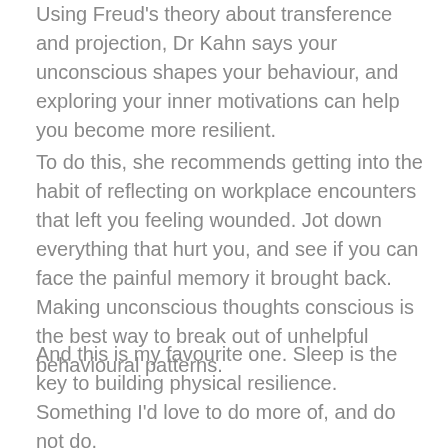Using Freud's theory about transference and projection, Dr Kahn says your unconscious shapes your behaviour, and exploring your inner motivations can help you become more resilient.
To do this, she recommends getting into the habit of reflecting on workplace encounters that left you feeling wounded. Jot down everything that hurt you, and see if you can face the painful memory it brought back. Making unconscious thoughts conscious is the best way to break out of unhelpful behavioural patterns.
And this is my favourite one. Sleep is the key to building physical resilience. Something I'd love to do more of, and do not do.